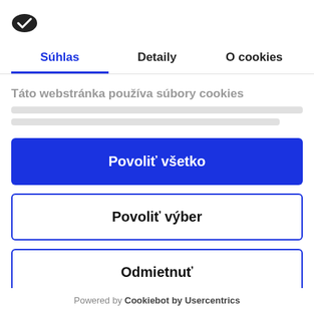[Figure (logo): Cookiebot logo — dark oval with white checkmark]
Súhlas	Detaily	O cookies
Táto webstránka používa súbory cookies
Povoliť všetko
Povoliť výber
Odmietnuť
Powered by Cookiebot by Usercentrics